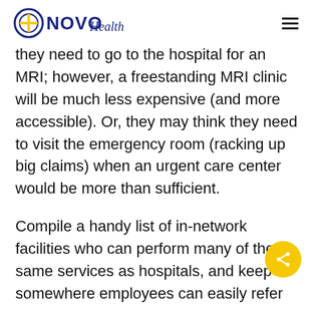NOVO Health
they need to go to the hospital for an MRI; however, a freestanding MRI clinic will be much less expensive (and more accessible). Or, they may think they need to visit the emergency room (racking up big claims) when an urgent care center would be more than sufficient.
Compile a handy list of in-network facilities who can perform many of the same services as hospitals, and keep it somewhere employees can easily refer